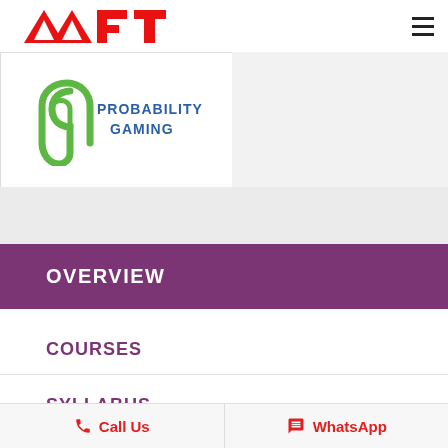AAFT
[Figure (logo): Probability Gaming logo with a stylized green paperclip/hook icon and blue text reading PROBABILITY GAMING]
OVERVIEW
COURSES
SYLLABUS
FACULTY
Call Us  WhatsApp